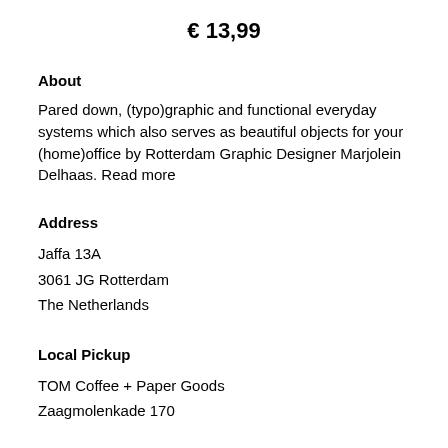€ 13,99
About
Pared down, (typo)graphic and functional everyday systems which also serves as beautiful objects for your (home)office by Rotterdam Graphic Designer Marjolein Delhaas. Read more
Address
Jaffa 13A
3061 JG Rotterdam
The Netherlands
Local Pickup
TOM Coffee + Paper Goods
Zaagmolenkade 170